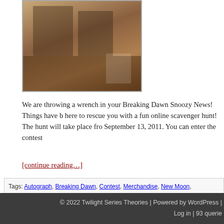[Figure (photo): Photo of Twilight merchandise/memorabilia — appears to show figures or posters on a table]
We are throwing a wrench in your Breaking Dawn Snoozy News! Things have been slow around here to rescue you with a fun online scavenger hunt!  The hunt will take place from September 13, 2011.  You can enter the contest
[continue reading...]
Tags: Autograph, Breaking Dawn, Contest, Merchandise, New Moon, Scavenger Hunt, S
Posted in Book News, Contests, Fandom, Featured Articles, Merchandise, Podcasts, Si
Tags: Autograph, Breaking Dawn, Contest, Merchandise, New Moon, Scavenger Hunt, S
Previous entries
© 2022 Twilight Series Theories | Powered by WordPress |
Log in | 93 querie